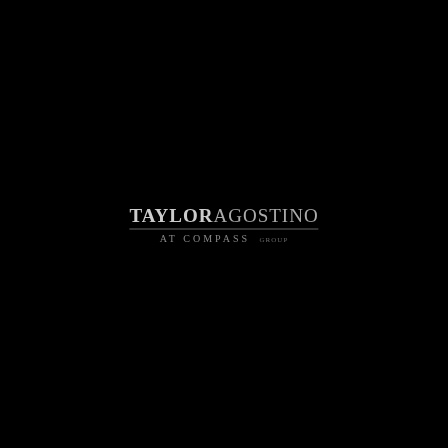[Figure (logo): Taylor Agostino Group at Compass real estate logo. White/grey text on black background. 'TAYLOR' in bold, 'AGOSTINO' in lighter weight, with a horizontal divider line, and 'AT COMPASS' in spaced caps below, with 'GROUP' in smaller text to the right.]